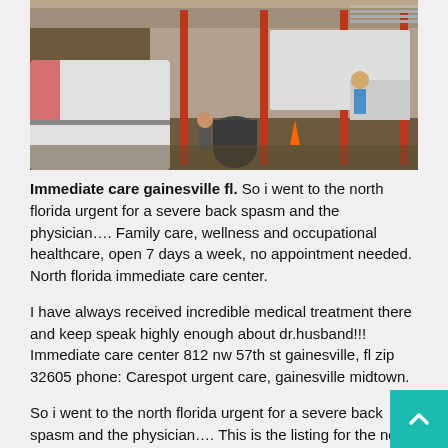[Figure (photo): Interior of an auto repair shop with cars on lifts, workers, red metal columns, concrete floor, and large garage doors.]
Immediate care gainesville fl. So i went to the north florida urgent for a severe back spasm and the physician…. Family care, wellness and occupational healthcare, open 7 days a week, no appointment needed. North florida immediate care center.
I have always received incredible medical treatment there and keep speak highly enough about dr.husband!!! Immediate care center 812 nw 57th st gainesville, fl zip 32605 phone: Carespot urgent care, gainesville midtown.
So i went to the north florida urgent for a severe back spasm and the physician…. This is the listing for the north florida immediate care center. Immediate care center 812 nw st.gainesville, fl zip 32605 phone: